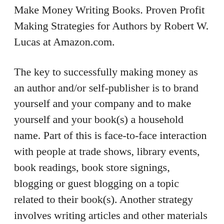Make Money Writing Books. Proven Profit Making Strategies for Authors by Robert W. Lucas at Amazon.com.
The key to successfully making money as an author and/or self-publisher is to brand yourself and your company and to make yourself and your book(s) a household name. Part of this is face-to-face interaction with people at trade shows, library events, book readings, book store signings, blogging or guest blogging on a topic related to their book(s). Another strategy involves writing articles and other materials that show up online and are found when people search for a given topic related to a topic about which the author has written.
If you need help building an author platform,